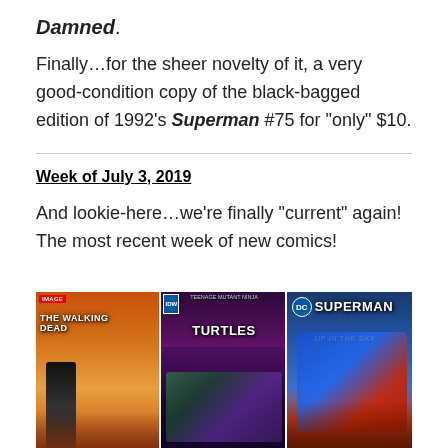Damned.
Finally…for the sheer novelty of it, a very good-condition copy of the black-bagged edition of 1992's Superman #75 for "only" $10.
Week of July 3, 2019
And lookie-here…we're finally "current" again! The most recent week of new comics!
[Figure (photo): Three comic book covers side by side: The Walking Dead (left), Teenage Mutant Ninja Turtles (center), and Superman: Up in the Sky (right, DC Comics)]